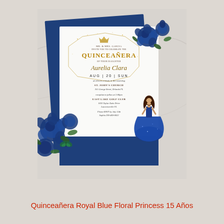[Figure (illustration): A quinceañera invitation card with royal blue floral decorations, navy blue back card slightly rotated behind the front white card. The front card has a gold geometric frame, a golden crown icon, blue roses in top-right and bottom-left corners, a princess in a royal blue ball gown on the right side, and invitation text in the center. Text reads: MR & MRS GARCIA INVITE YOU TO CELEBRATE THE QUINCEAÑERA OF THEIR DAUGHTER Aurelia Clara AUG | 20 | SUN at eleven o'clock in the morning ST. JOHN'S CHURCH 351 George Street Orlando FL reception to follow at 2:00pm EAST LAKE GOLF CLUB 1033 Taylor Oaks Drive Lawrenceville FL Please RSVP by July 15th Sophia 290-483-0022]
Quinceañera Royal Blue Floral Princess 15 Años